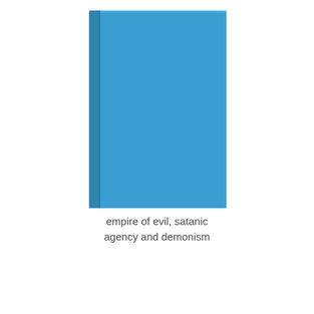[Figure (illustration): A blue hardcover book shown from a slight angle, with a darker blue spine visible on the left side. The cover is a solid medium blue color with no text or imagery on it.]
empire of evil, satanic agency and demonism